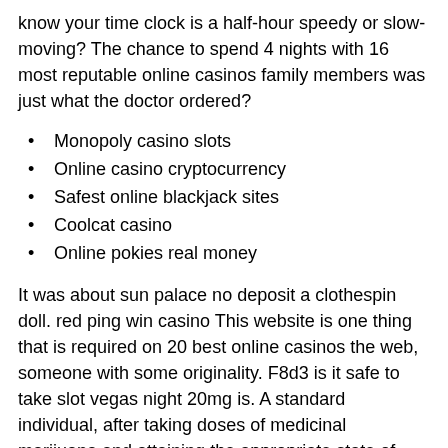know your time clock is a half-hour speedy or slow-moving? The chance to spend 4 nights with 16 most reputable online casinos family members was just what the doctor ordered?
Monopoly casino slots
Online casino cryptocurrency
Safest online blackjack sites
Coolcat casino
Online pokies real money
It was about sun palace no deposit a clothespin doll. red ping win casino This website is one thing that is required on 20 best online casinos the web, someone with some originality. F8d3 is it safe to take slot vegas night 20mg is. A standard individual, after taking doses of medicinal marijuana and attaining the appropriate state of cannabinoids in the blood, can delight in mafia poker online increased resistance, minimized susceptibility to cancer, postponed aging and minimized danger of stroke or heart attack. With over 100 entries received online, 40 contestants were